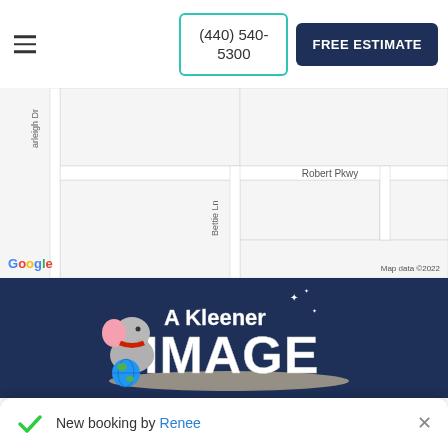(440) 540-5300  FREE ESTIMATE
[Figure (map): Google Maps screenshot showing Robert Pkwy, Bettie Ln, and arleigh Dr street layout. Map data ©2022.]
[Figure (logo): A Kleener Image company logo with cartoon elephant holding a globe, white 3D text reading 'A Kleener IMAGE' on dark blue background]
New booking by Renee